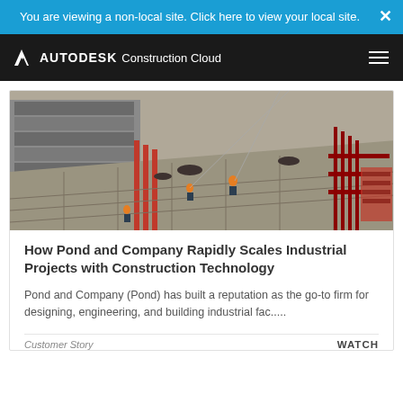You are viewing a non-local site. Click here to view your local site.
[Figure (logo): Autodesk Construction Cloud logo in white on black background]
[Figure (photo): Aerial view of an industrial construction site with workers in orange vests on a steel-reinforced concrete deck, red scaffolding, and industrial buildings in the background]
How Pond and Company Rapidly Scales Industrial Projects with Construction Technology
Pond and Company (Pond) has built a reputation as the go-to firm for designing, engineering, and building industrial fac.....
Customer Story                                          WATCH